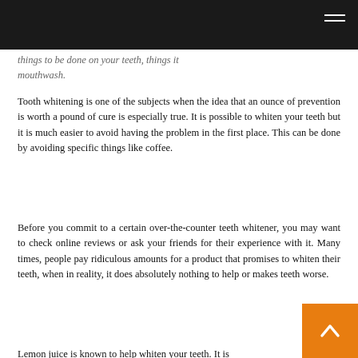[navigation bar with menu icon]
...things to be done on your teeth, things it mouthwash.
Tooth whitening is one of the subjects when the idea that an ounce of prevention is worth a pound of cure is especially true. It is possible to whiten your teeth but it is much easier to avoid having the problem in the first place. This can be done by avoiding specific things like coffee.
Before you commit to a certain over-the-counter teeth whitener, you may want to check online reviews or ask your friends for their experience with it. Many times, people pay ridiculous amounts for a product that promises to whiten their teeth, when in reality, it does absolutely nothing to help or makes teeth worse.
Lemon juice is known to help whiten your teeth. It is